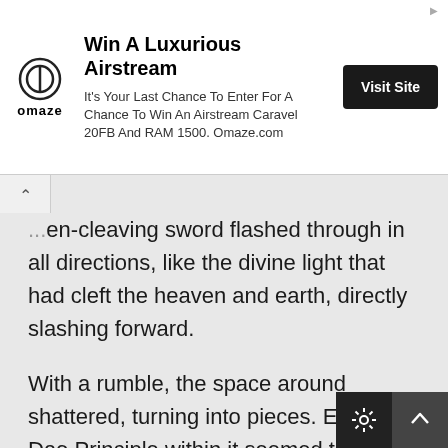[Figure (other): Advertisement banner: Omaze logo with text 'Win A Luxurious Airstream', body text 'It's Your Last Chance To Enter For A Chance To Win An Airstream Caravel 20FB And RAM 1500. Omaze.com', and a dark 'Visit Site' button.]
...heaven-cleaving sword flashed through in all directions, like the divine light that had cleft the heaven and earth, directly slashing forward.

With a rumble, the space around shattered, turning into pieces. Even the Dao Principle within it seemed to have shattered, becoming extremely fragile at this moment.

It was the legendary heaven-cleaving divine weapon. Before this divine weapon, they all appeared extremely...